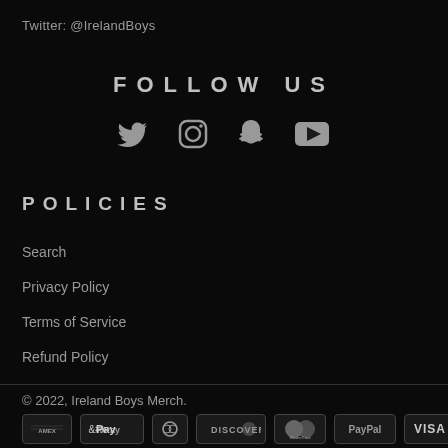Twitter: @IrelandBoys
FOLLOW US
[Figure (other): Social media icons: Twitter, Instagram, Snapchat, YouTube]
POLICIES
Search
Privacy Policy
Terms of Service
Refund Policy
© 2022, Ireland Boys Merch.
[Figure (other): Payment method icons: American Express, Apple Pay, Diners Club, Discover, MasterCard, PayPal, Visa]